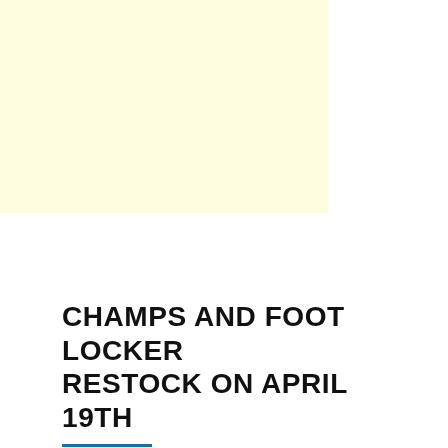[Figure (other): Light yellow/cream colored advertisement banner rectangle in the top-left area of the page]
CHAMPS AND FOOT LOCKER RESTOCK ON APRIL 19TH
admin   No comments   April 17, 2014